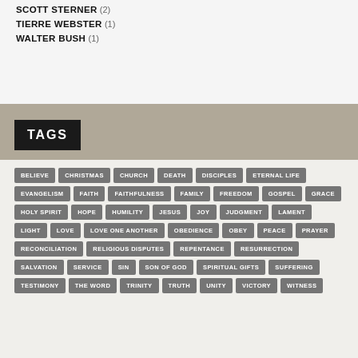SCOTT STERNER (2)
TIERRE WEBSTER (1)
WALTER BUSH (1)
TAGS
BELIEVE CHRISTMAS CHURCH DEATH DISCIPLES ETERNAL LIFE EVANGELISM FAITH FAITHFULNESS FAMILY FREEDOM GOSPEL GRACE HOLY SPIRIT HOPE HUMILITY JESUS JOY JUDGMENT LAMENT LIGHT LOVE LOVE ONE ANOTHER OBEDIENCE OBEY PEACE PRAYER RECONCILIATION RELIGIOUS DISPUTES REPENTANCE RESURRECTION SALVATION SERVICE SIN SON OF GOD SPIRITUAL GIFTS SUFFERING TESTIMONY THE WORD TRINITY TRUTH UNITY VICTORY WITNESS